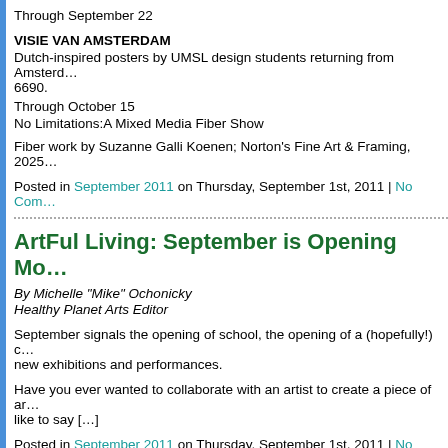Through September 22
VISIE VAN AMSTERDAM
Dutch-inspired posters by UMSL design students returning from Amsterdam... 6690.
Through October 15
No Limitations:A Mixed Media Fiber Show
Fiber work by Suzanne Galli Koenen; Norton's Fine Art & Framing, 2025...
Posted in September 2011 on Thursday, September 1st, 2011 | No Com...
ArtFul Living: September is Opening Mo...
By Michelle "Mike" Ochonicky
Healthy Planet Arts Editor
September signals the opening of school, the opening of a (hopefully!) c... new exhibitions and performances.
Have you ever wanted to collaborate with an artist to create a piece of ar... like to say […]
Posted in September 2011 on Thursday, September 1st, 2011 | No Com...